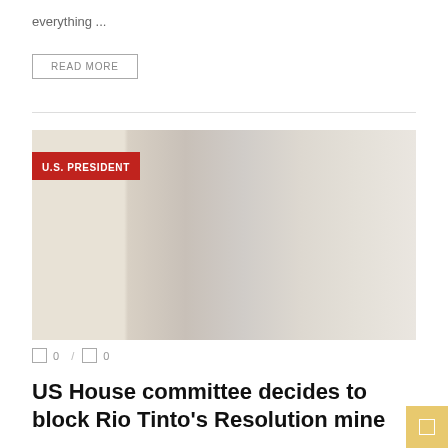everything ...
READ MORE
[Figure (photo): Faded/washed-out news photo with red U.S. PRESIDENT category badge in top-left corner]
0  /  0
US House committee decides to block Rio Tinto's Resolution mine